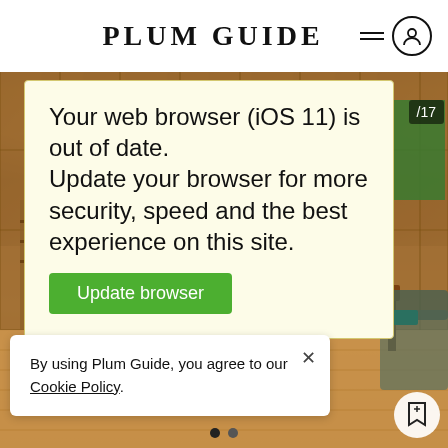PLUM GUIDE
[Figure (photo): Interior photo of a dining room with wood-paneled walls, a wooden dining table, grey chairs, and hardwood floors]
Your web browser (iOS 11) is out of date.
Update your browser for more security, speed and the best experience on this site.
[Update browser button]
/17
By using Plum Guide, you agree to our Cookie Policy.